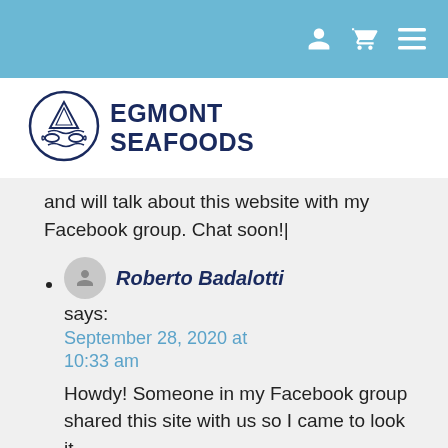[Figure (logo): Egmont Seafoods logo: circular badge with fish and waves illustration, beside bold text EGMONT SEAFOODS]
and will talk about this website with my Facebook group. Chat soon!|
Roberto Badalotti says: September 28, 2020 at 10:33 am Howdy! Someone in my Facebook group shared this site with us so I came to look it
Roberto Badalotti
says:
September 28, 2020 at 10:33 am
Howdy! Someone in my Facebook group shared this site with us so I came to look it